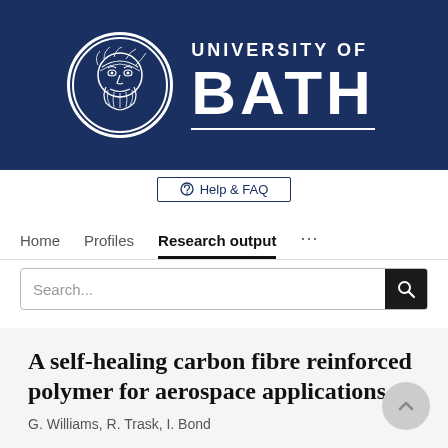[Figure (logo): University of Bath logo: circular emblem with bearded face illustration alongside text 'UNIVERSITY OF BATH' on dark navy background]
Help & FAQ
Home   Profiles   Research output   ...
Search...
A self-healing carbon fibre reinforced polymer for aerospace applications
G. Williams, R. Trask, I. Bond